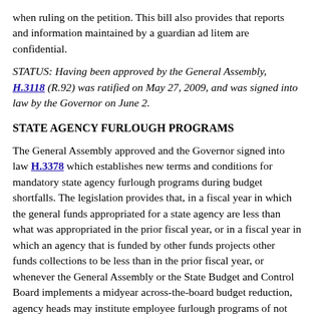when ruling on the petition. This bill also provides that reports and information maintained by a guardian ad litem are confidential.
STATUS: Having been approved by the General Assembly, H.3118 (R.92) was ratified on May 27, 2009, and was signed into law by the Governor on June 2.
STATE AGENCY FURLOUGH PROGRAMS
The General Assembly approved and the Governor signed into law H.3378 which establishes new terms and conditions for mandatory state agency furlough programs during budget shortfalls. The legislation provides that, in a fiscal year in which the general funds appropriated for a state agency are less than what was appropriated in the prior fiscal year, or in a fiscal year in which an agency that is funded by other funds projects other funds collections to be less than in the prior fiscal year, or whenever the General Assembly or the State Budget and Control Board implements a midyear across-the-board budget reduction, agency heads may institute employee furlough programs of not more than ten working days in the fiscal year in which the deficit is projected to occur. The furlough must be inclusive of all employees in an agency or within a designated department or program, regardless of source of funds or place of work, and must include all classified and unclassified employees in the designated area. However, a furlough program may also be